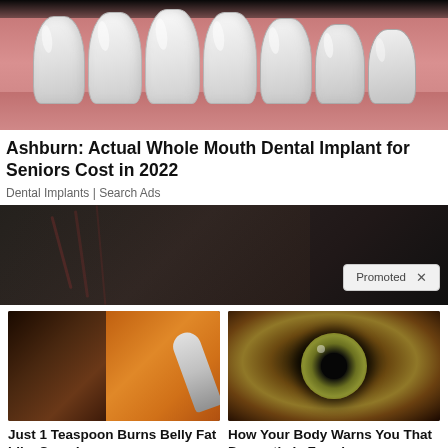[Figure (photo): Close-up photo of dental implants/teeth with pink gum tissue, dark background at top]
Ashburn: Actual Whole Mouth Dental Implant for Seniors Cost in 2022
Dental Implants | Search Ads
[Figure (photo): Promotional banner ad showing a person's midsection with hands on hips, dark background, 'Promoted X' badge in bottom right]
[Figure (photo): Thumbnail showing a fit person and spices with a spoon of orange powder]
Just 1 Teaspoon Burns Belly Fat Like Crazy!
🔥 8,959
[Figure (photo): Close-up extreme macro photo of a human eye with green-brown iris]
How Your Body Warns You That Dementia Is Forming
🔥 46,283